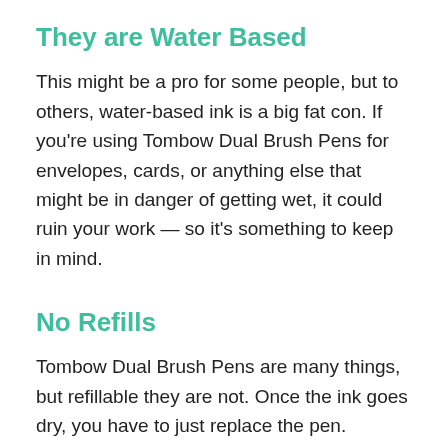They are Water Based
This might be a pro for some people, but to others, water-based ink is a big fat con. If you're using Tombow Dual Brush Pens for envelopes, cards, or anything else that might be in danger of getting wet, it could ruin your work — so it's something to keep in mind.
No Refills
Tombow Dual Brush Pens are many things, but refillable they are not. Once the ink goes dry, you have to just replace the pen. However, I have never had a pen go dry, even after more than three years of use. The nib usually degrades faster than the ink can dry up anyway.